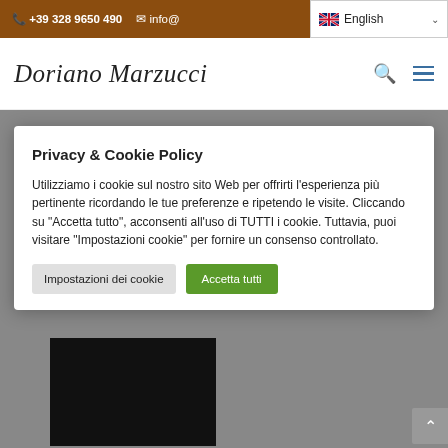+39 328 9650 490  info@  English
[Figure (screenshot): Doriano Marzucci logo in italic script font with search and hamburger menu icons]
Privacy & Cookie Policy
Utilizziamo i cookie sul nostro sito Web per offrirti l'esperienza più pertinente ricordando le tue preferenze e ripetendo le visite. Cliccando su "Accetta tutto", acconsenti all'uso di TUTTI i cookie. Tuttavia, puoi visitare "Impostazioni cookie" per fornire un consenso controllato.
Impostazioni dei cookie   Accetta tutti